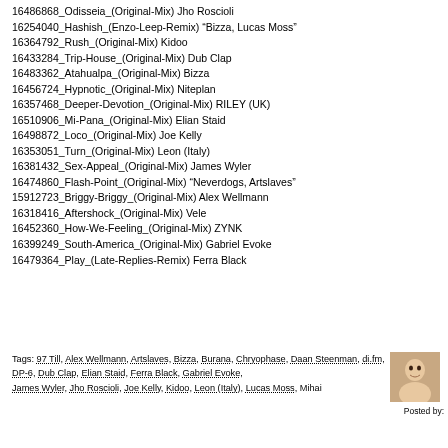16486868_Odisseia_(Original-Mix) Jho Roscioli
16254040_Hashish_(Enzo-Leep-Remix) "Bizza, Lucas Moss"
16364792_Rush_(Original-Mix) Kidoo
16433284_Trip-House_(Original-Mix) Dub Clap
16483362_Atahualpa_(Original-Mix) Bizza
16456724_Hypnotic_(Original-Mix) Niteplan
16357468_Deeper-Devotion_(Original-Mix) RILEY (UK)
16510906_Mi-Pana_(Original-Mix) Elian Staid
16498872_Loco_(Original-Mix) Joe Kelly
16353051_Turn_(Original-Mix) Leon (Italy)
16381432_Sex-Appeal_(Original-Mix) James Wyler
16474860_Flash-Point_(Original-Mix) "Neverdogs, Artslaves"
15912723_Briggy-Briggy_(Original-Mix) Alex Wellmann
16318416_Aftershock_(Original-Mix) Vele
16452360_How-We-Feeling_(Original-Mix) ZYNK
16399249_South-America_(Original-Mix) Gabriel Evoke
16479364_Play_(Late-Replies-Remix) Ferra Black
Tags: 97 Till, Alex Wellmann, Artslaves, Bizza, Burana, Chryophase, Daan Steenman, di.fm, DP-6, Dub Clap, Elian Staid, Ferra Black, Gabriel Evoke, James Wyler, Jho Roscioli, Joe Kelly, Kidoo, Leon (Italy), Lucas Moss, Mihai
Posted by: